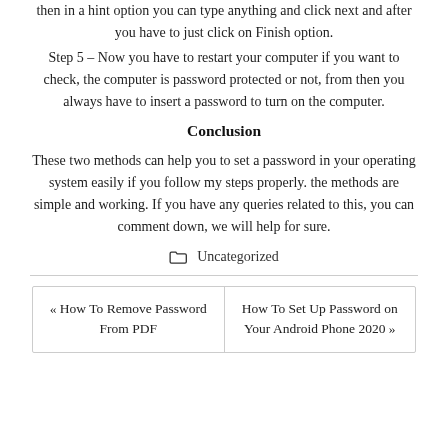then in a hint option you can type anything and click next and after you have to just click on Finish option.
Step 5 – Now you have to restart your computer if you want to check, the computer is password protected or not, from then you always have to insert a password to turn on the computer.
Conclusion
These two methods can help you to set a password in your operating system easily if you follow my steps properly. the methods are simple and working. If you have any queries related to this, you can comment down, we will help for sure.
🗁 Uncategorized
« How To Remove Password From PDF | How To Set Up Password on Your Android Phone 2020 »